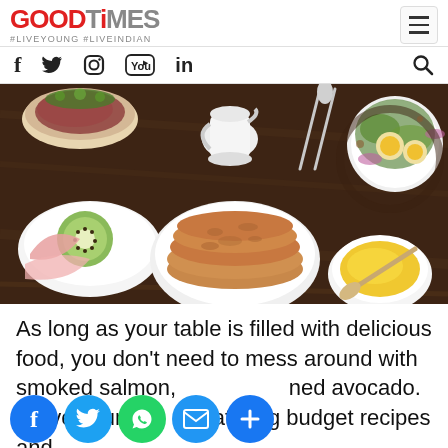GOODTIMES #LIVEYOUNG #LIVEINDIAN
[Figure (photo): Overhead food table photo with pancakes, fruit bowl with kiwi and apple slices, eggs with greens salad, cream pitcher, cutlery, and honey with wooden spoon on dark wooden surface]
As long as your table is filled with delicious food, you don’t need to mess around with smoked salmon, [mashed] avocado. Serve your [mouth-w]atering budget recipes and